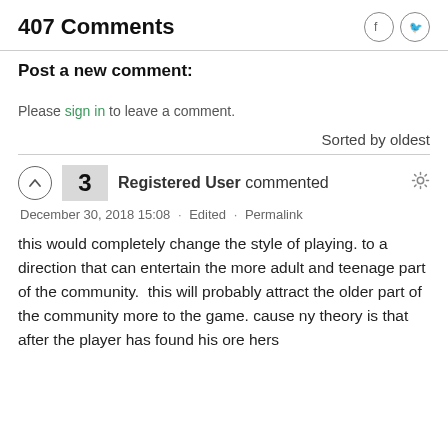407 Comments
Post a new comment:
Please sign in to leave a comment.
Sorted by oldest
3  Registered User commented
December 30, 2018 15:08 · Edited · Permalink
this would completely change the style of playing. to a direction that can entertain the more adult and teenage part of the community.  this will probably attract the older part of the community more to the game. cause ny theory is that after the player has found his ore hers